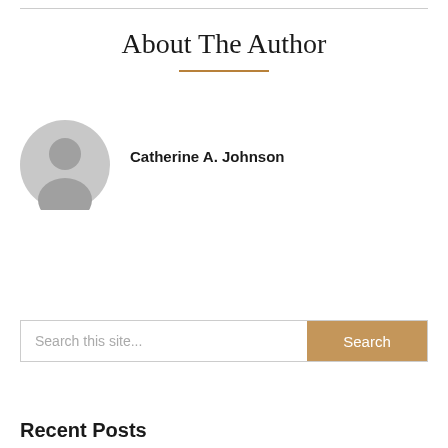About The Author
[Figure (illustration): Gray circular avatar/profile placeholder icon showing a generic silhouette of a person's head and shoulders]
Catherine A. Johnson
Search this site...
Recent Posts